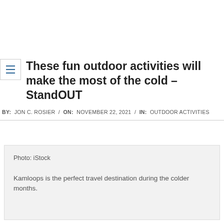These fun outdoor activities will make the most of the cold – StandOUT
BY: JON C. ROSIER / ON: NOVEMBER 22, 2021 / IN: OUTDOOR ACTIVITIES
Photo: iStock

Kamloops is the perfect travel destination during the colder months.